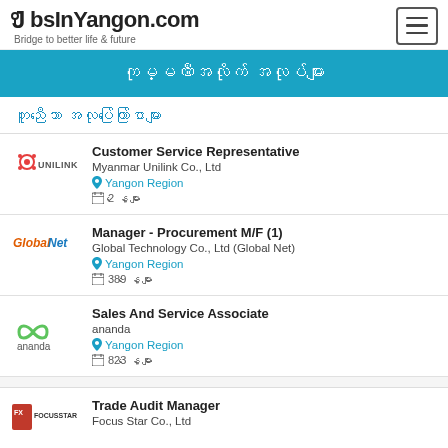JobsInYangon.com - Bridge to better life & future
ကုမ္ပဏီအလိုက် အလုပ်များ
တူညီသော အလုပ်ကြော်ငြာများ
Customer Service Representative - Myanmar Unilink Co., Ltd - Yangon Region - 2 နေ့များ
Manager - Procurement M/F  (1) - Global Technology Co., Ltd (Global Net) - Yangon Region - 389 နေ့များ
Sales And Service Associate - ananda - Yangon Region - 823 နေ့များ
Trade Audit Manager - Focus Star Co., Ltd